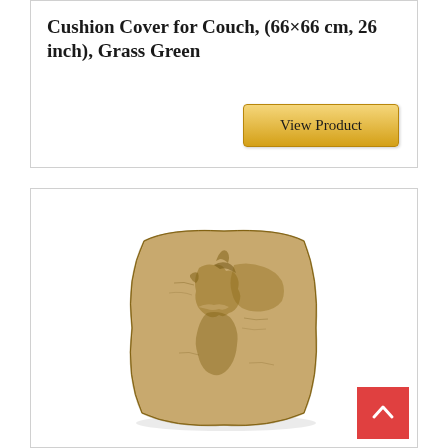Cushion Cover for Couch, (66×66 cm, 26 inch), Grass Green
[Figure (other): Golden/beige button with text 'View Product']
[Figure (photo): A square decorative pillow/cushion cover with a vintage world map print in brown/tan tones on a beige/gold fabric background]